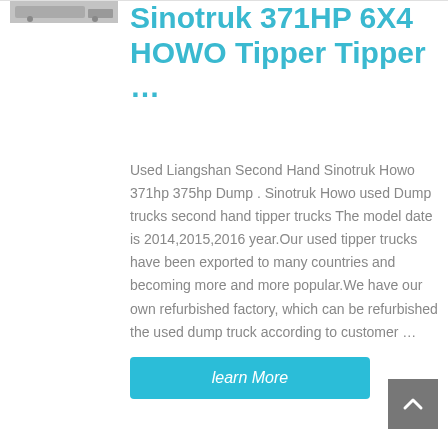[Figure (photo): Partial image of a Sinotruk HOWO tipper truck, cropped at top]
Sinotruk 371HP 6X4 HOWO Tipper Tipper …
Used Liangshan Second Hand Sinotruk Howo 371hp 375hp Dump . Sinotruk Howo used Dump trucks second hand tipper trucks The model date is 2014,2015,2016 year.Our used tipper trucks have been exported to many countries and becoming more and more popular.We have our own refurbished factory, which can be refurbished the used dump truck according to customer …
learn More